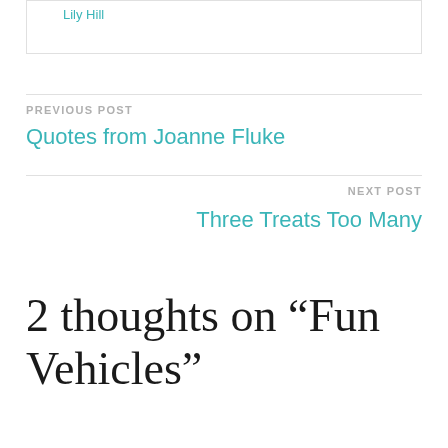Lily Hill
PREVIOUS POST
Quotes from Joanne Fluke
NEXT POST
Three Treats Too Many
2 thoughts on “Fun Vehicles”